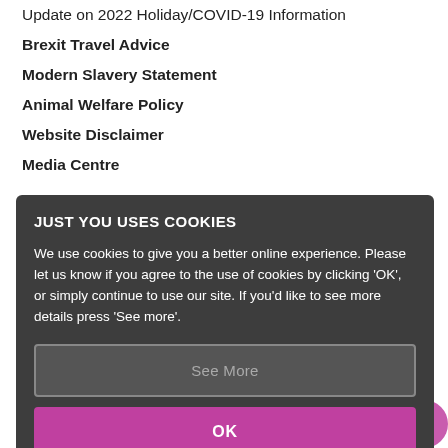Update on 2022 Holiday/COVID-19 Information
Brexit Travel Advice
Modern Slavery Statement
Animal Welfare Policy
Website Disclaimer
Media Centre
JUST YOU USES COOKIES

We use cookies to give you a better online experience. Please let us know if you agree to the use of cookies by clicking 'OK', or simply continue to use our site. If you'd like to see more details press 'See more'.
See More
OK
CUSTOMER SUPPORT
About Us
Contact Us